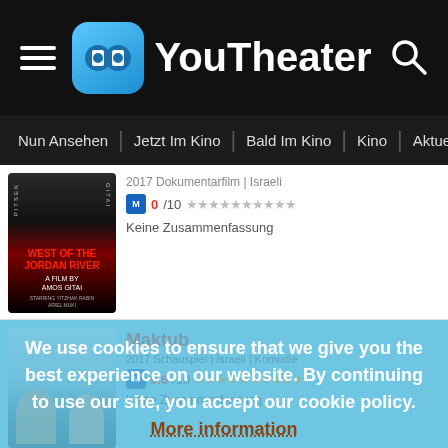YouTheater
Nun Ansehen | Jetzt Im Kino | Bald Im Kino | Kino | Aktuelle
2017 Dokumentarfilm | Israeli
0/10 ★★★★★★★★★★ Keine Zusammenfassung
Maktub
2017 Schauspiel | Israeli | Komödie
9.6/10 ★★★★★★★★★★ Keine Zusammenfassung
We use cookies to ensure that we give you the best experience on our website. By continuing to use our site, you accept our cookie policy. More information
הוד | ACCEPT | סרטים | האפליקציה הכי מלאה של סרטים. צפייה ישירה בסרטים וסדרות